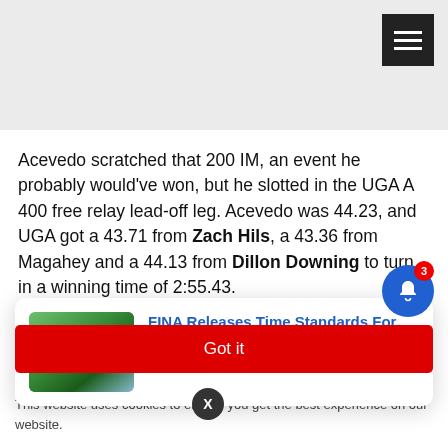Acevedo scratched that 200 IM, an event he probably would've won, but he slotted in the UGA A 400 free relay lead-off leg. Acevedo was 44.23, and UGA got a 43.71 from Zach Hils, a 43.36 from Magahey and a 44.13 from Dillon Downing to turn in a winning time of 2:55.43.
[Figure (screenshot): Notification popup: FINA Releases Time Standards For 2023, 16 hours ago, with swimmer image]
Tennessee's A ... ke-off. Houlie's
Got it
This website uses cookies to ensure you get the best experience on our website.